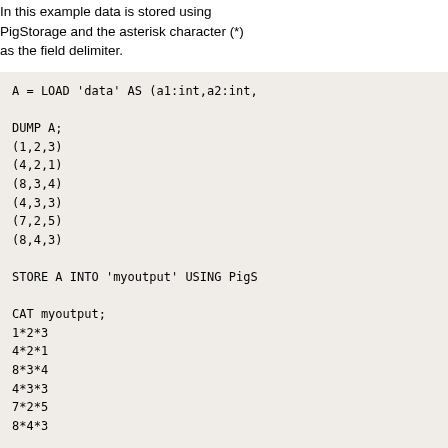In this example data is stored using PigStorage and the asterisk character (*) as the field delimiter.
[Figure (screenshot): Code block showing Pig Latin commands: LOAD, DUMP with tuple output, STORE INTO using PigStorage]
In this example, the CONCAT function is used to format the data before it is stored.
[Figure (screenshot): Code block showing Pig Latin LOAD command with a1:int,a2:int fields and DUMP A;]